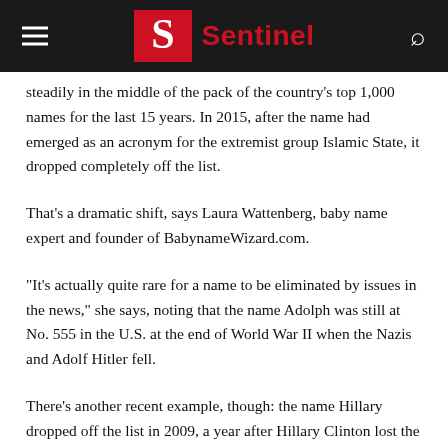Sentinel
steadily in the middle of the pack of the country's top 1,000 names for the last 15 years. In 2015, after the name had emerged as an acronym for the extremist group Islamic State, it dropped completely off the list.
That's a dramatic shift, says Laura Wattenberg, baby name expert and founder of BabynameWizard.com.
“It's actually quite rare for a name to be eliminated by issues in the news,” she says, noting that the name Adolph was still at No. 555 in the U.S. at the end of World War II when the Nazis and Adolf Hitler fell.
There’s another recent example, though: the name Hillary dropped off the list in 2009, a year after Hillary Clinton lost the Democratic presidential primary to Barack Obama. The name was No. 721 in